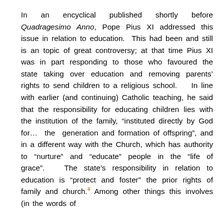In an encyclical published shortly before Quadragesimo Anno, Pope Pius XI addressed this issue in relation to education. This had been and still is an topic of great controversy; at that time Pius XI was in part responding to those who favoured the state taking over education and removing parents' rights to send children to a religious school. In line with earlier (and continuing) Catholic teaching, he said that the responsibility for educating children lies with the institution of the family, “instituted directly by God for… the generation and formation of offspring”, and in a different way with the Church, which has authority to “nurture” and “educate” people in the “life of grace”. The state’s responsibility in relation to education is “protect and foster” the prior rights of family and church.4 Among other things this involves (in the words of